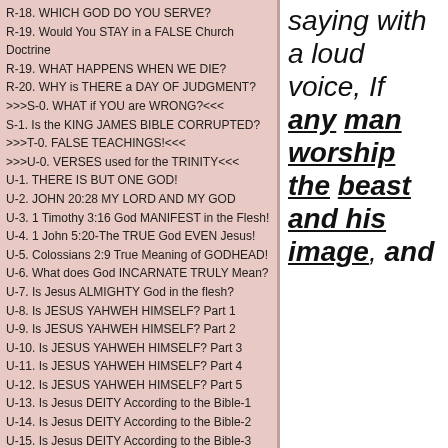R-18. WHICH GOD DO YOU SERVE?
R-19. Would You STAY in a FALSE Church Doctrine
R-19. WHAT HAPPENS WHEN WE DIE?
R-20. WHY is THERE a DAY OF JUDGMENT?
>>>S-0. WHAT if YOU are WRONG?<<<
S-1. Is the KING JAMES BIBLE CORRUPTED?
>>>T-0. FALSE TEACHINGS!<<<
>>>U-0. VERSES used for the TRINITY<<<
U-1. THERE IS BUT ONE GOD!
U-2. JOHN 20:28 MY LORD AND MY GOD
U-3. 1 Timothy 3:16 God MANIFEST in the Flesh!
U-4. 1 John 5:20-The TRUE God EVEN Jesus!
U-5. Colossians 2:9 True Meaning of GODHEAD!
U-6. What does God INCARNATE TRULY Mean?
U-7. Is Jesus ALMIGHTY God in the flesh?
U-8. Is JESUS YAHWEH HIMSELF? Part 1
U-9. Is JESUS YAHWEH HIMSELF? Part 2
U-10. Is JESUS YAHWEH HIMSELF? Part 3
U-11. Is JESUS YAHWEH HIMSELF? Part 4
U-12. Is JESUS YAHWEH HIMSELF? Part 5
U-13. Is Jesus DEITY According to the Bible-1
U-14. Is Jesus DEITY According to the Bible-2
U-15. Is Jesus DEITY According to the Bible-3
U-16. Matthew 1:23 EMMANUEL - God WITH us!
saying with a loud voice, If any man worship the beast and his image, and